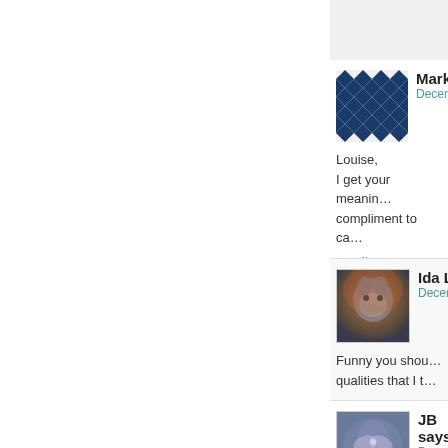Mark L
December
Louise,
I get your meanin... compliment to ca...
Like
Ida Lu
Decemb...
Funny you shou... qualities that I t...
Like
JB says:
December